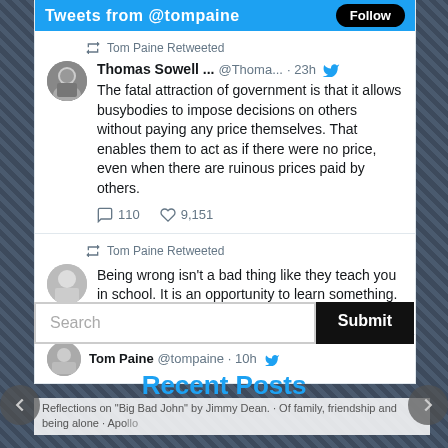Tweets from @tompaine  Follow
Tom Paine Retweeted
Thomas Sowell ... @Thoma... · 23h
The fatal attraction of government is that it allows busybodies to impose decisions on others without paying any price themselves. That enables them to act as if there were no price, even when there are ruinous prices paid by others.
110  9,151
Tom Paine Retweeted
Being wrong isn't a bad thing like they teach you in school. It is an opportunity to learn something.
97  9,220
Recent Posts
Reflections on "Big Bad John" by Jimmy Dean. · Of family, friendship and being alone · Apollo
Tom Paine @tompaine · 10h